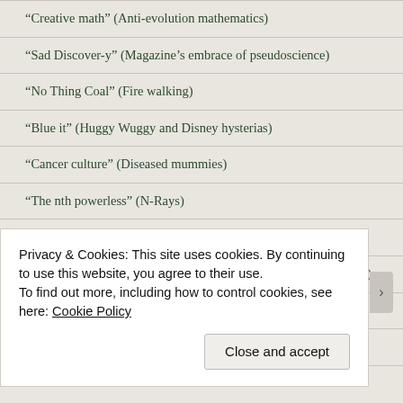“Creative math” (Anti-evolution mathematics)
“Sad Discover-y” (Magazine’s embrace of pseudoscience)
“No Thing Coal” (Fire walking)
“Blue it” (Huggy Wuggy and Disney hysterias)
“Cancer culture” (Diseased mummies)
“The nth powerless” (N-Rays)
“Branch Floridians” (DeSantis deaths)
“TikTok Sheeple” (Attorneys Generals social media investigation)
“Drip pan” (Nutrient infusions)
“Conspiracy weary” (Errors in conspiracy theory thought)
Privacy & Cookies: This site uses cookies. By continuing to use this website, you agree to their use.
To find out more, including how to control cookies, see here: Cookie Policy